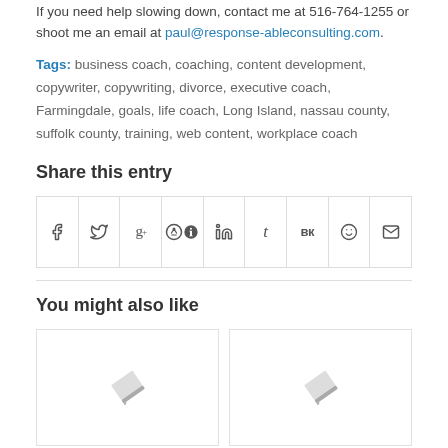If you need help slowing down, contact me at 516-764-1255 or shoot me an email at paul@response-ableconsulting.com.
Tags: business coach, coaching, content development, copywriter, copywriting, divorce, executive coach, Farmingdale, goals, life coach, Long Island, nassau county, suffolk county, training, web content, workplace coach
Share this entry
[Figure (infographic): Row of social share buttons: Facebook, Twitter, Google+, Pinterest, LinkedIn, Tumblr, VK, Reddit, Email]
You might also like
[Figure (illustration): Two placeholder cards side by side, each with a pencil/edit icon in the center]